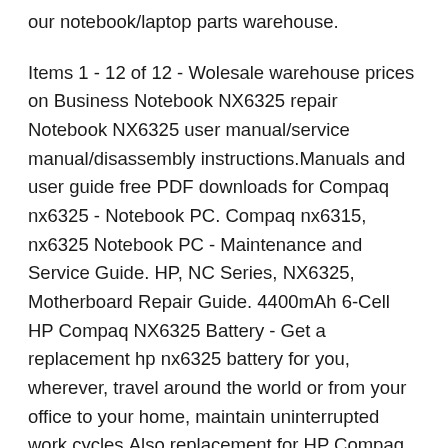our notebook/laptop parts warehouse.
Items 1 - 12 of 12 - Wolesale warehouse prices on Business Notebook NX6325 repair Notebook NX6325 user manual/service manual/disassembly instructions.Manuals and user guide free PDF downloads for Compaq nx6325 - Notebook PC. Compaq nx6315, nx6325 Notebook PC - Maintenance and Service Guide. HP, NC Series, NX6325, Motherboard Repair Guide. 4400mAh 6-Cell HP Compaq NX6325 Battery - Get a replacement hp nx6325 battery for you, wherever, travel around the world or from your office to your home, maintain uninterrupted work cycles.Also replacement for HP Compaq 6715b 6510b 6710b 6910p nx6110 nx6325 nc6220 nc6400.Our hp laptop batteries